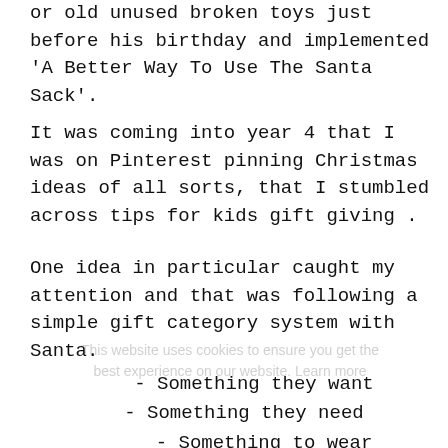or old  unused  broken toys just before his birthday and implemented  'A Better Way To Use The Santa Sack'.
It was coming into year 4 that I was on Pinterest pinning Christmas ideas of all sorts, that I stumbled across tips for kids gift giving .
One idea in particular caught my attention and that was following a simple gift category system with Santa.
- Something they want
- Something they need
- Something to wear
- Something to read